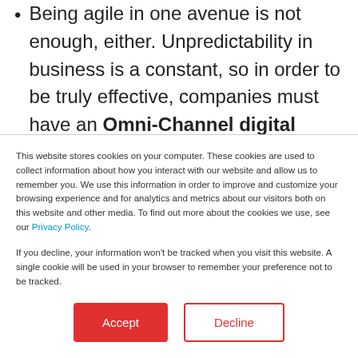Being agile in one avenue is not enough, either. Unpredictability in business is a constant, so in order to be truly effective, companies must have an Omni-Channel digital customer service approach so they can practice agility as needed across all
This website stores cookies on your computer. These cookies are used to collect information about how you interact with our website and allow us to remember you. We use this information in order to improve and customize your browsing experience and for analytics and metrics about our visitors both on this website and other media. To find out more about the cookies we use, see our Privacy Policy.

If you decline, your information won't be tracked when you visit this website. A single cookie will be used in your browser to remember your preference not to be tracked.